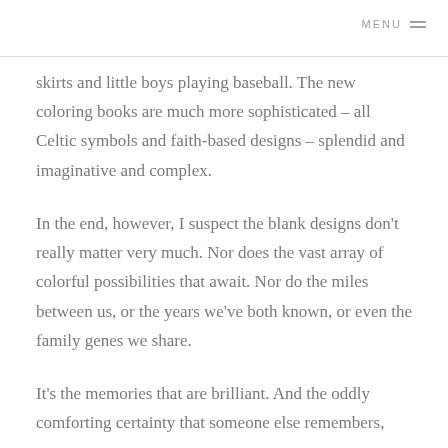MENU
skirts and little boys playing baseball. The new coloring books are much more sophisticated – all Celtic symbols and faith-based designs – splendid and imaginative and complex.
In the end, however, I suspect the blank designs don't really matter very much. Nor does the vast array of colorful possibilities that await. Nor do the miles between us, or the years we've both known, or even the family genes we share.
It's the memories that are brilliant. And the oddly comforting certainty that someone else remembers,